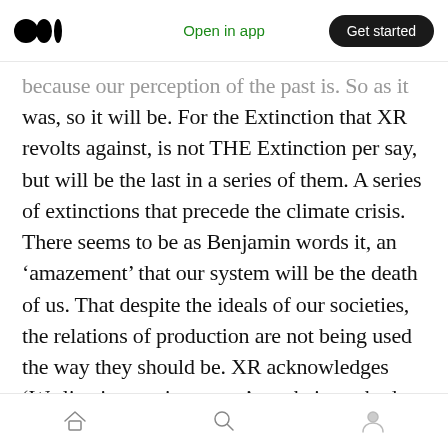Open in app | Get started
because our perception of the past is. So as it was, so it will be. For the Extinction that XR revolts against, is not THE Extinction per say, but will be the last in a series of them. A series of extinctions that precede the climate crisis. There seems to be as Benjamin words it, an ‘amazement’ that our system will be the death of us. That despite the ideals of our societies, the relations of production are not being used the way they should be. XR acknowledges ‘We live in a toxic system’ yet their methods centre on nonviolent disruptions of everyday life and traffic, along with pleas to governments to do the
Home | Search | Profile